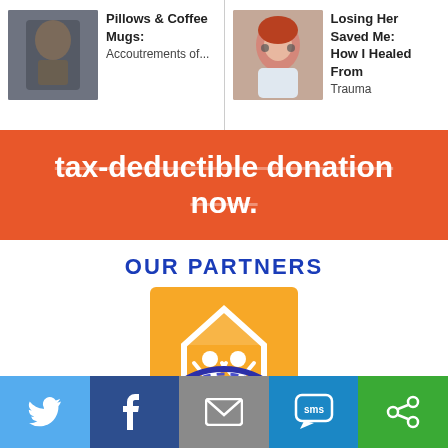[Figure (screenshot): Article card: person playing guitar thumbnail with title 'Pillows & Coffee Mugs: Accoutrements of...']
[Figure (screenshot): Article card: woman with red hair thumbnail with title 'Losing Her Saved Me: How I Healed From Trauma']
tax-deductible donation now.
OUR PARTNERS
[Figure (logo): Habitat for Humanity logo — white house/family icon on orange/yellow square background]
[Figure (logo): WHYY radio logo — white text WHYY on dark blue circular badge with concentric arcs]
[Figure (infographic): Social sharing bar with Twitter, Facebook, Email, SMS, and copy/share icons]